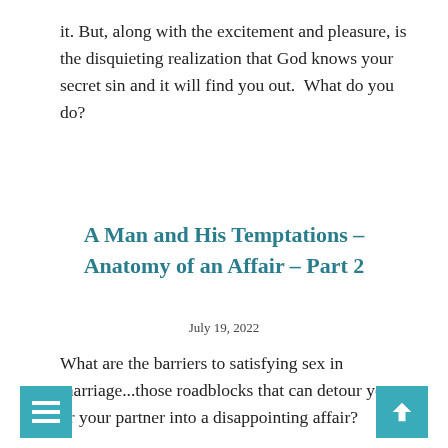it. But, along with the excitement and pleasure, is the disquieting realization that God knows your secret sin and it will find you out.  What do you do?
A Man and His Temptations – Anatomy of an Affair – Part 2
July 19, 2022
What are the barriers to satisfying sex in marriage...those roadblocks that can detour you or your partner into a disappointing affair?